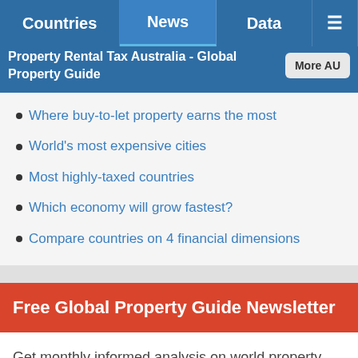Countries | News | Data | ≡
Property Rental Tax Australia - Global Property Guide
Where buy-to-let property earns the most
World's most expensive cities
Most highly-taxed countries
Which economy will grow fastest?
Compare countries on 4 financial dimensions
Free Global Property Guide Newsletter
Get monthly informed analysis on world property markets and exclusive, early access to investment opportunities delivered right to your inbox.